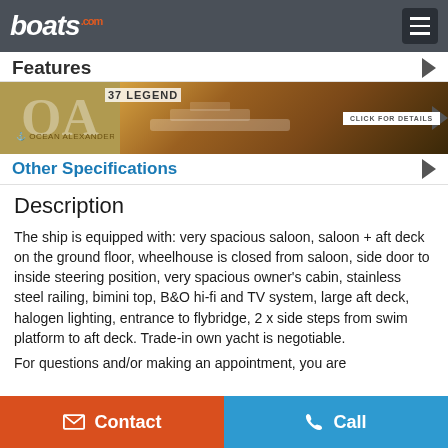boats.com
Features
[Figure (screenshot): Ocean Alexander 37 Legend advertisement banner with yacht photo and CLICK FOR DETAILS button]
Other Specifications
Description
The ship is equipped with: very spacious saloon, saloon + aft deck on the ground floor, wheelhouse is closed from saloon, side door to inside steering position, very spacious owner's cabin, stainless steel railing, bimini top, B&O hi-fi and TV system, large aft deck, halogen lighting, entrance to flybridge, 2 x side steps from swim platform to aft deck. Trade-in own yacht is negotiable.
For questions and/or making an appointment, you are
Contact   Call